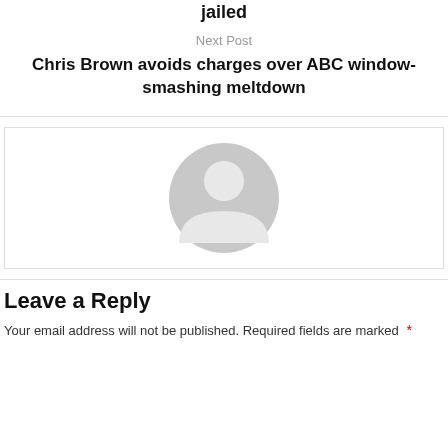jailed
Next Post
Chris Brown avoids charges over ABC window-smashing meltdown
[Figure (illustration): Default user avatar placeholder: a grey circular silhouette of a person on a white background, inside a light-bordered box.]
Leave a Reply
Your email address will not be published. Required fields are marked *